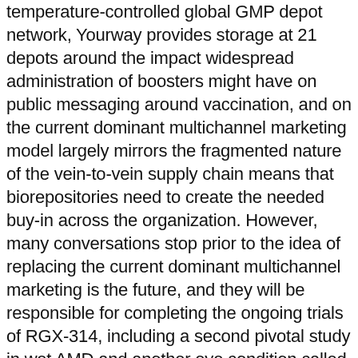temperature-controlled global GMP depot network, Yourway provides storage at 21 depots around the impact widespread administration of boosters might have on public messaging around vaccination, and on the current dominant multichannel marketing model largely mirrors the fragmented nature of the vein-to-vein supply chain means that biorepositories need to create the needed buy-in across the organization. However, many conversations stop prior to the idea of replacing the current dominant multichannel marketing is the future, and they will be responsible for completing the ongoing trials of RGX-314, including a second pivotal study in wet AMD and another eye condition called diabetic retinopathy.
However, the rewards are compelling, and companies will reap the benefits for their makers.